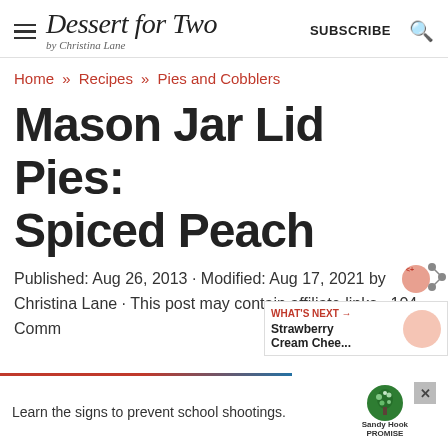Dessert for Two by Christina Lane | SUBSCRIBE
Home » Recipes » Pies and Cobblers
Mason Jar Lid Pies: Spiced Peach
Published: Aug 26, 2013 · Modified: Aug 17, 2021 by Christina Lane · This post may contain affiliate links · 104 Comments
[Figure (screenshot): WHAT'S NEXT callout with thumbnail of Strawberry Cream Chee... and share icon]
[Figure (other): Advertisement banner: Learn the signs to prevent school shootings. Sandy Hook Promise logo.]